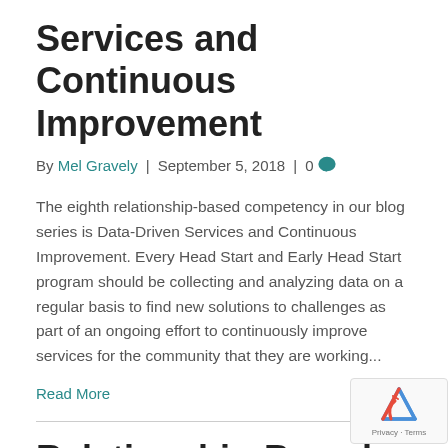Services and Continuous Improvement
By Mel Gravely  |  September 5, 2018  |  0
The eighth relationship-based competency in our blog series is Data-Driven Services and Continuous Improvement. Every Head Start and Early Head Start program should be collecting and analyzing data on a regular basis to find new solutions to challenges as part of an ongoing effort to continuously improve services for the community that they are working...
Read More
Relationship-Based Competencies: